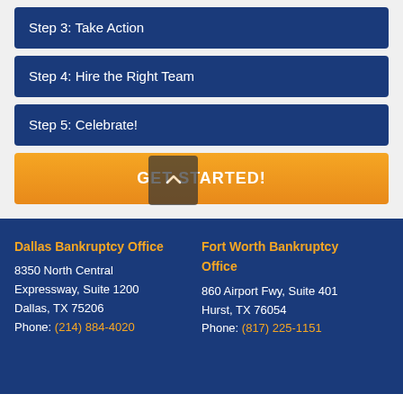Step 3: Take Action
Step 4: Hire the Right Team
Step 5: Celebrate!
GET STARTED!
Dallas Bankruptcy Office
8350 North Central Expressway, Suite 1200
Dallas, TX 75206
Phone: (214) 884-4020

Fort Worth Bankruptcy Office
860 Airport Fwy, Suite 401
Hurst, TX 76054
Phone: (817) 225-1151